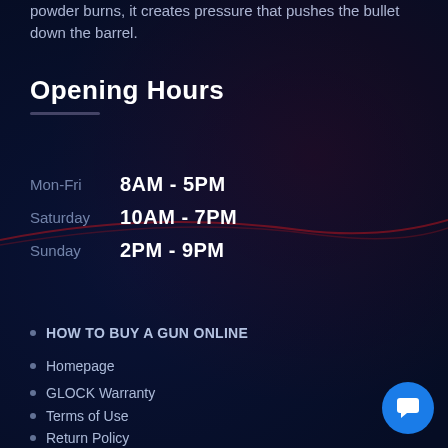powder burns, it creates pressure that pushes the bullet down the barrel.
Opening Hours
| Day | Hours |
| --- | --- |
| Mon-Fri | 8AM - 5PM |
| Saturday | 10AM - 7PM |
| Sunday | 2PM - 9PM |
HOW TO BUY A GUN ONLINE
Homepage
GLOCK Warranty
Terms of Use
Return Policy